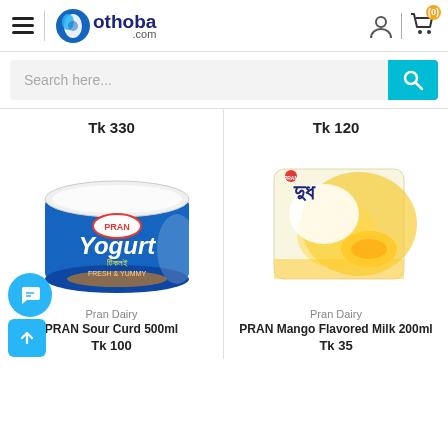othoba.com
Search here...
Tk 330
Tk 120
[Figure (photo): PRAN Sour Curd 500ml product image - blue container with white lid]
[Figure (photo): PRAN Mango Flavored Milk 200ml product image - yellow/white tetra pack]
Pran Dairy
Pran Dairy
PRAN Sour Curd 500ml
PRAN Mango Flavored Milk 200ml
Tk 100
Tk 35